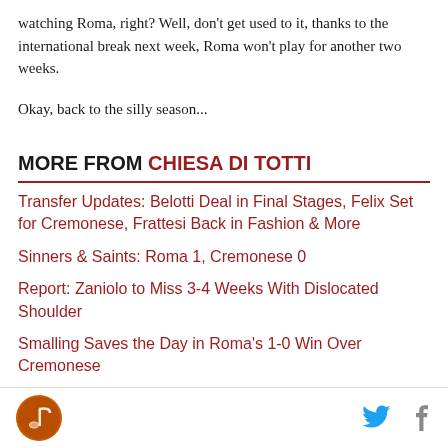watching Roma, right? Well, don't get used to it, thanks to the international break next week, Roma won't play for another two weeks.
Okay, back to the silly season...
MORE FROM CHIESA DI TOTTI
Transfer Updates: Belotti Deal in Final Stages, Felix Set for Cremonese, Frattesi Back in Fashion & More
Sinners & Saints: Roma 1, Cremonese 0
Report: Zaniolo to Miss 3-4 Weeks With Dislocated Shoulder
Smalling Saves the Day in Roma's 1-0 Win Over Cremonese
Chiesa di Totti logo, Twitter and Facebook icons